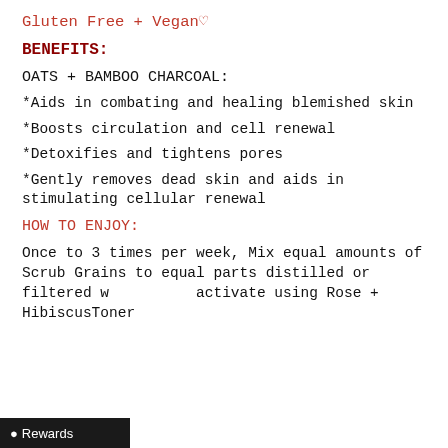Gluten Free + Vegan♡
BENEFITS:
OATS + BAMBOO CHARCOAL:
*Aids in combating and healing blemished skin
*Boosts circulation and cell renewal
*Detoxifies and tightens pores
*Gently removes dead skin and aids in stimulating cellular renewal
HOW TO ENJOY:
Once to 3 times per week, Mix equal amounts of Scrub Grains to equal parts distilled or filtered w activate using Rose + HibiscusToner